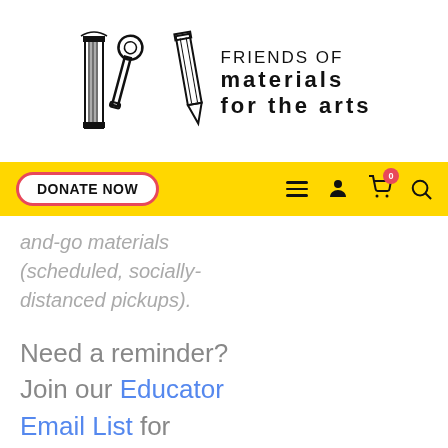[Figure (logo): Friends of Materials for the Arts logo with decorative M letterform incorporating architectural column, wrench, and pencil elements, alongside organization name text]
DONATE NOW navigation bar with hamburger menu, person icon, cart (0), and search icon on yellow background
and-go materials (scheduled, socially-distanced pickups).
Need a reminder? Join our Educator Email List for updates about Professional Development